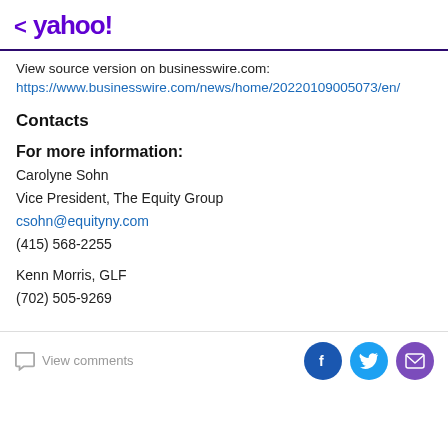< yahoo!
View source version on businesswire.com:
https://www.businesswire.com/news/home/20220109005073/en/
Contacts
For more information:
Carolyne Sohn
Vice President, The Equity Group
csohn@equityny.com
(415) 568-2255
Kenn Morris, GLF
(702) 505-9269
View comments